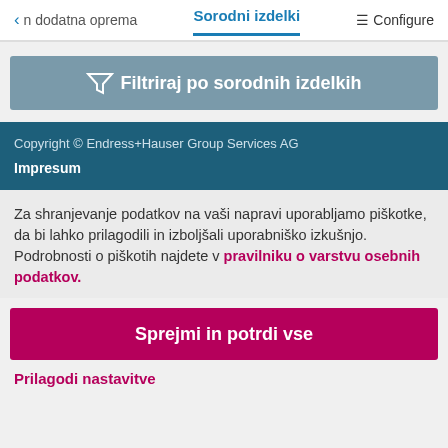< n dodatna oprema   Sorodni izdelki   Configure
[Figure (other): Filter button with funnel icon: Filtriraj po sorodnih izdelkih]
Copyright © Endress+Hauser Group Services AG
Impresum
Za shranjevanje podatkov na vaši napravi uporabljamo piškotke, da bi lahko prilagodili in izboljšali uporabniško izkušnjo. Podrobnosti o piškotih najdete v pravilniku o varstvu osebnih podatkov.
Sprejmi in potrdi vse
Prilagodi nastavitve